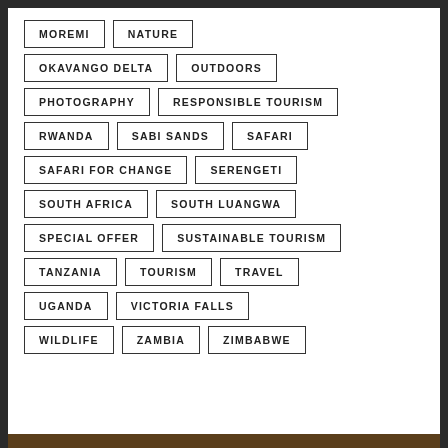MOREMI
NATURE
OKAVANGO DELTA
OUTDOORS
PHOTOGRAPHY
RESPONSIBLE TOURISM
RWANDA
SABI SANDS
SAFARI
SAFARI FOR CHANGE
SERENGETI
SOUTH AFRICA
SOUTH LUANGWA
SPECIAL OFFER
SUSTAINABLE TOURISM
TANZANIA
TOURISM
TRAVEL
UGANDA
VICTORIA FALLS
WILDLIFE
ZAMBIA
ZIMBABWE